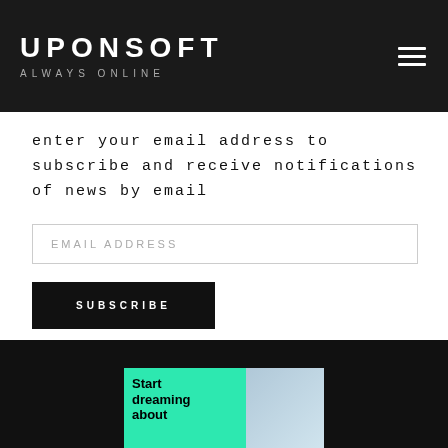UPONSOFT ALWAYS ONLINE
enter your email address to subscribe and receive notifications of news by email
EMAIL ADDRESS
SUBSCRIBE
[Figure (screenshot): Advertisement banner with teal/green background showing 'Start dreaming about' text and a partial photo of what appears to be an interior/architectural image]